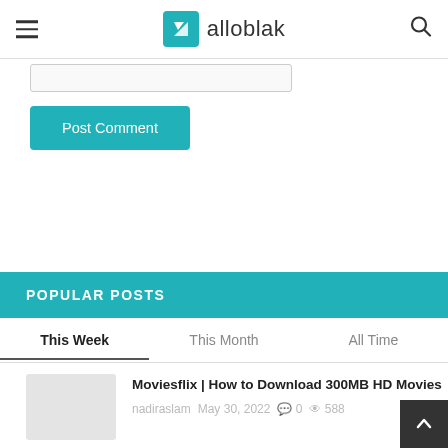alloblak
[Figure (screenshot): Input text field stub (partial, top of page)]
Post Comment
POPULAR POSTS
This Week | This Month | All Time
Moviesflix | How to Download 300MB HD Movies
nadiraslam  May 30, 2022  0  588